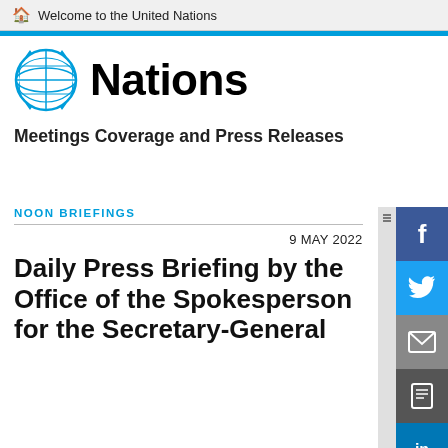Welcome to the United Nations
[Figure (logo): United Nations logo with globe and text 'Nations']
Meetings Coverage and Press Releases
NOON BRIEFINGS
9 MAY 2022
Daily Press Briefing by the Office of the Spokesperson for the Secretary-General